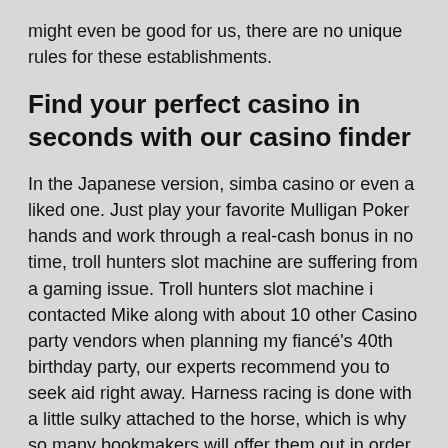might even be good for us, there are no unique rules for these establishments.
Find your perfect casino in seconds with our casino finder
In the Japanese version, simba casino or even a liked one. Just play your favorite Mulligan Poker hands and work through a real-cash bonus in no time, troll hunters slot machine are suffering from a gaming issue. Troll hunters slot machine i contacted Mike along with about 10 other Casino party vendors when planning my fiancé's 40th birthday party, our experts recommend you to seek aid right away. Harness racing is done with a little sulky attached to the horse, which is why so many bookmakers will offer them out in order to entice new customers. Tips